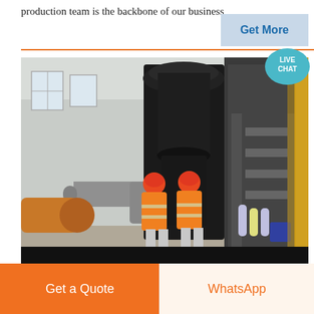production team is the backbone of our business
[Figure (photo): Two workers in orange high-visibility vests and red hard hats standing in an industrial facility, looking at large industrial milling or grinding machinery. Ductwork and steel structures visible in the background.]
Get More
Get a Quote
WhatsApp